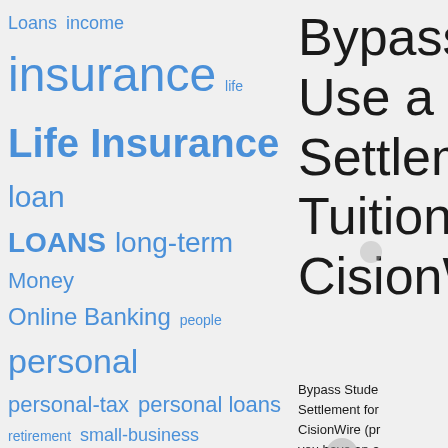[Figure (infographic): Tag cloud of financial terms in blue, varying font sizes. Terms include: Loans, income, insurance, life, Life Insurance, loan, LOANS, long-term, Money, Online Banking, people, personal, personal-tax, personal loans, retirement, small-business, small business, student, Student Loan, Student Loans, term, care, time]
Bypass Use a S Settlement Tuition CisionW Bypass Stude Settlement for CisionWire (pr you have an a cash out for e